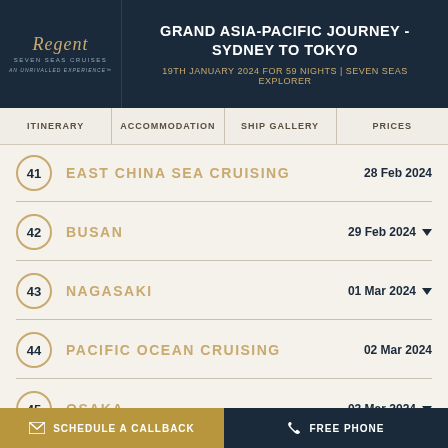Regent Seven Seas Cruises
GRAND ASIA-PACIFIC JOURNEY - SYDNEY TO TOKYO
19TH JANUARY 2024 FOR 59 NIGHTS | SEVEN SEAS EXPLORER
ITINERARY | ACCOMMODATION | SHIP GALLERY | PRICES
41 EAST CHINA SEA CRUISING  28 Feb 2024
42 BUSAN  29 Feb 2024
43 NAGASAKI  01 Mar 2024
44 PACIFIC OCEAN CRUISING  02 Mar 2024
45 OSAKA  03 Mar 2024
47 NAGOYA  05 Mar 2024
SCHEDULE A CALLBACK | FREE PHONE